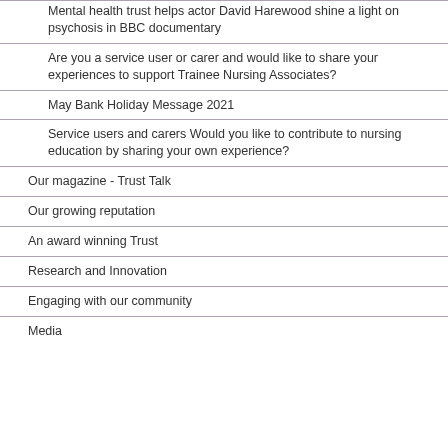Mental health trust helps actor David Harewood shine a light on psychosis in BBC documentary
Are you a service user or carer and would like to share your experiences to support Trainee Nursing Associates?
May Bank Holiday Message 2021
Service users and carers Would you like to contribute to nursing education by sharing your own experience?
Our magazine - Trust Talk
Our growing reputation
An award winning Trust
Research and Innovation
Engaging with our community
Media